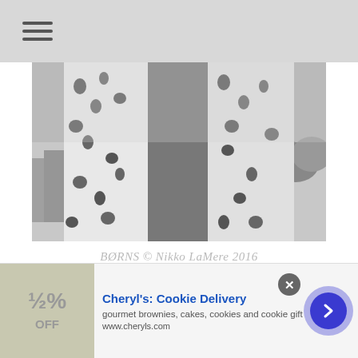☰ (hamburger menu icon)
[Figure (photo): Black and white photograph showing a person wearing a patterned floral/bird-print jacket or coat, shot from behind/side, with a city panorama visible in the background]
BØRNS © Nikko LaMere 2016
Having perhaps accepted the fleeting nature of our dreams, BØRNS endeavors to forever enshrine the magic he felt in those increasingly faraway moments. We begin to sense a larger purpose lurking throughout Blue Madonna, though it will
[Figure (other): Advertisement banner for Cheryl's Cookie Delivery showing product image, headline 'Cheryl's: Cookie Delivery', subtext 'gourmet brownies, cakes, cookies and cookie gift baskets', URL 'www.cheryls.com', close button and arrow button]